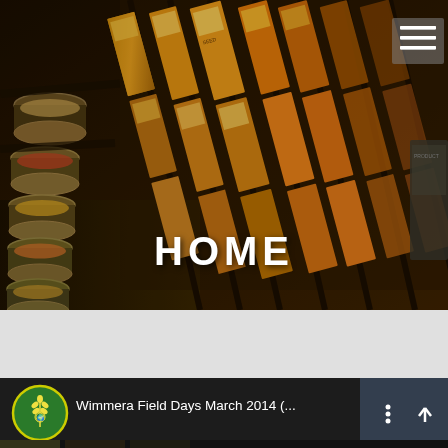[Figure (photo): Hero banner image showing rows of spice/grain bowls on the left and seed packets in wooden display racks on the right, with 'HOME' text overlay at center-bottom. A hamburger menu icon is in the top-right corner.]
[Figure (screenshot): Video thumbnail bar at the bottom showing a green circular logo on the left and the title 'Wimmera Field Days March 2014 (...)' with a vertical dots menu icon and an up-arrow share icon on the right.]